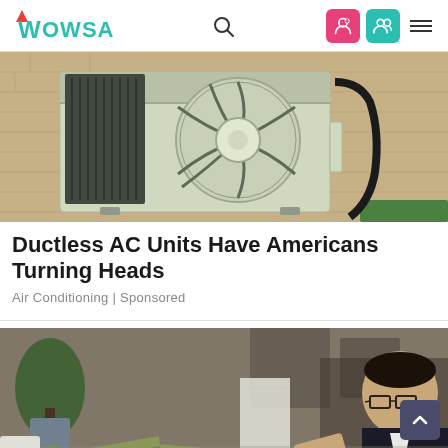Wowsa
[Figure (photo): Outdoor ductless mini-split AC unit mounted on a brick wall with conduit and hoses running along the wall]
Ductless AC Units Have Americans Turning Heads
Air Conditioning | Sponsored
[Figure (photo): Man in business attire reaching over stacks of US dollar bills on a desk in an office setting]